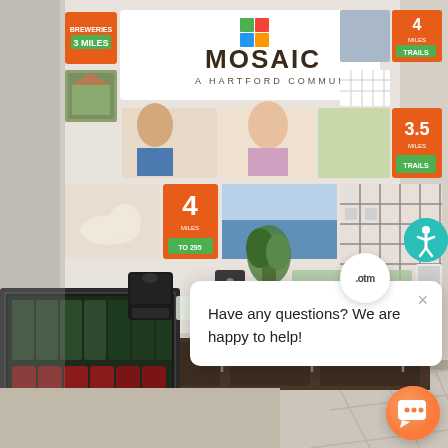[Figure (photo): Interior photo of a real estate sales office/model home for 'Mosaic – A Hartford Community'. The wall displays the Mosaic logo, marketing photos, and distance signage. A counter/bar area with a Keurig coffee maker, water dispenser, pod rack, and beverages behind a glass-door mini fridge is visible. A chat popup overlay reads 'Have any questions? We are happy to help!' with an × close button. An OTM badge, an accessibility (wheelchair) button in teal, and an orange chat launcher button are visible.]
Have any questions? We are happy to help!